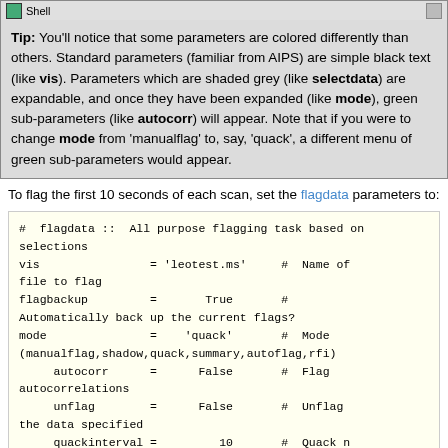[Figure (screenshot): Shell tab bar with green icon and 'Shell' label]
Tip: You'll notice that some parameters are colored differently than others. Standard parameters (familiar from AIPS) are simple black text (like vis). Parameters which are shaded grey (like selectdata) are expandable, and once they have been expanded (like mode), green sub-parameters (like autocorr) will appear. Note that if you were to change mode from 'manualflag' to, say, 'quack', a different menu of green sub-parameters would appear.
To flag the first 10 seconds of each scan, set the flagdata parameters to:
#  flagdata ::  All purpose flagging task based on selections
vis                = 'leotest.ms'     #  Name of file to flag
flagbackup         =       True      #  Automatically back up the current flags?
mode               =    'quack'      #  Mode (manualflag,shadow,quack,summary,autoflag,rfi)
     autocorr      =      False      #  Flag autocorrelations
     unflag        =      False      #  Unflag the data specified
     quackinterval =         10      #  Quack n seconds from scan beginning/end
     quackmode     =      'beg'      #  Quack mode. 'beg' ==> beginning of scan. 'endb' ==> end of